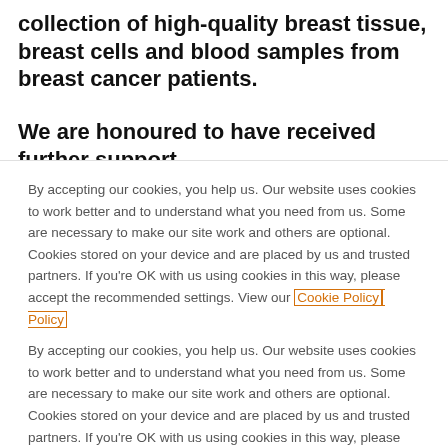collection of high-quality breast tissue, breast cells and blood samples from breast cancer patients.
We are honoured to have received further support from the Garfield Weston Foundation 2022
By accepting our cookies, you help us. Our website uses cookies to work better and to understand what you need from us. Some are necessary to make our site work and others are optional. Cookies stored on your device and are placed by us and trusted partners. If you're OK with us using cookies in this way, please accept the recommended settings. View our Cookie Policy
Manage My Settings
Reject All
Accept All Cookies